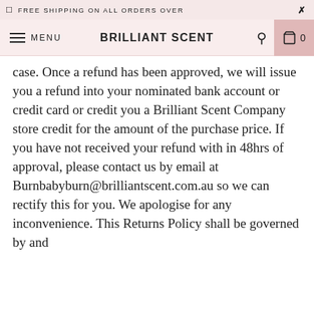FREE SHIPPING ON ALL ORDERS OVER
MENU   BRILLIANT SCENT   🔍   0
case. Once a refund has been approved, we will issue you a refund into your nominated bank account or credit card or credit you a Brilliant Scent Company store credit for the amount of the purchase price. If you have not received your refund with in 48hrs of approval, please contact us by email at Burnbabyburn@brilliantscent.com.au so we can rectify this for you. We apologise for any inconvenience. This Returns Policy shall be governed by and